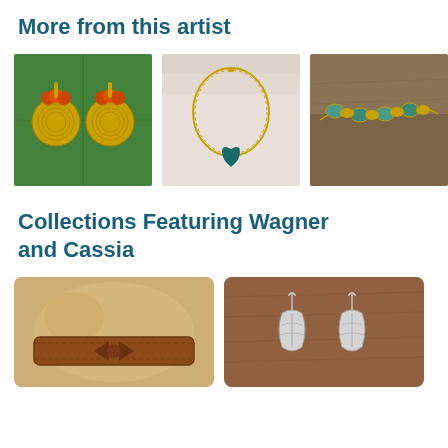More from this artist
[Figure (photo): Gold disc earrings with orange coral beads on a green leaf background]
[Figure (photo): Gold snake chain necklace with green heart pendant on white wood background]
[Figure (photo): Gold wire wrapped bracelet with turquoise and gold beads on wood background]
Collections Featuring Wagner and Cassia
[Figure (photo): Leather bracelet with bow tie detail on warm background]
[Figure (photo): Silver leaf dangle earrings on brown wood background]